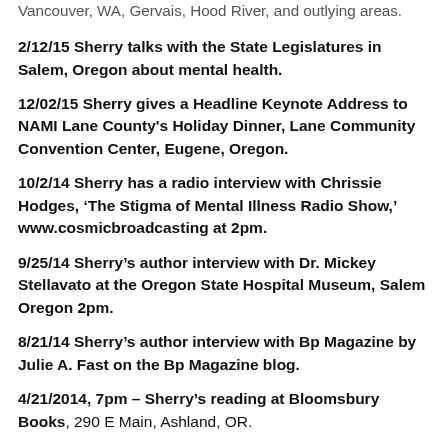Vancouver, WA, Gervais, Hood River, and outlying areas. [partial, cut off at top]
2/12/15  Sherry talks with the State Legislatures in Salem, Oregon about mental health.
12/02/15 Sherry gives a Headline Keynote Address to NAMI Lane County's Holiday Dinner, Lane Community Convention Center, Eugene, Oregon.
10/2/14 Sherry has a radio interview with Chrissie Hodges, ‘The Stigma of Mental Illness Radio Show,’ www.cosmicbroadcasting at 2pm.
9/25/14  Sherry’s author interview with Dr. Mickey Stellavato at the Oregon State Hospital Museum, Salem Oregon 2pm.
8/21/14 Sherry’s author interview with Bp Magazine by Julie A. Fast on the Bp Magazine blog.
4/21/2014, 7pm – Sherry’s reading at Bloomsbury Books, 290 E Main, Ashland, OR.
5/03/2014 Sherry’s author talk at NorthStar Clubhouse 5600 NE Glisan St., Portland, Oregon. 4pm-5pm [partial, cut off at bottom]